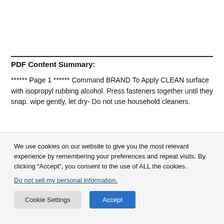PDF Content Summary:
****** Page 1 ****** Command BRAND To Apply CLEAN surface with isopropyl rubbing alcohol. Press fasteners together until they snap. wipe gently, let dry- Do not use household cleaners.
We use cookies on our website to give you the most relevant experience by remembering your preferences and repeat visits. By clicking “Accept”, you consent to the use of ALL the cookies.
Do not sell my personal information.